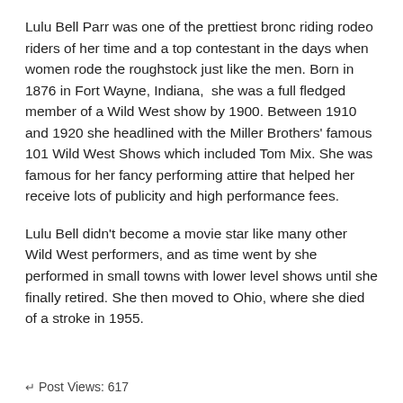Lulu Bell Parr was one of the prettiest bronc riding rodeo riders of her time and a top contestant in the days when women rode the roughstock just like the men. Born in 1876 in Fort Wayne, Indiana, she was a full fledged member of a Wild West show by 1900. Between 1910 and 1920 she headlined with the Miller Brothers' famous 101 Wild West Shows which included Tom Mix. She was famous for her fancy performing attire that helped her receive lots of publicity and high performance fees.
Lulu Bell didn't become a movie star like many other Wild West performers, and as time went by she performed in small towns with lower level shows until she finally retired. She then moved to Ohio, where she died of a stroke in 1955.
Post Views: 617